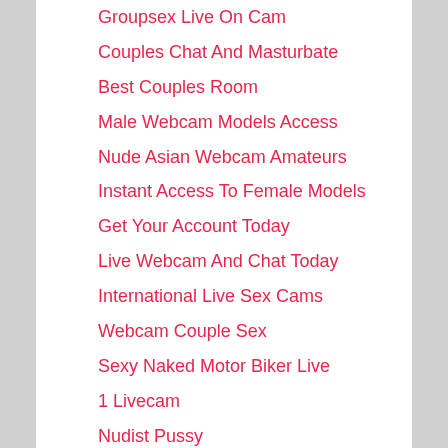Groupsex Live On Cam
Couples Chat And Masturbate
Best Couples Room
Male Webcam Models Access
Nude Asian Webcam Amateurs
Instant Access To Female Models
Get Your Account Today
Live Webcam And Chat Today
International Live Sex Cams
Webcam Couple Sex
Sexy Naked Motor Biker Live
1 Livecam
Nudist Pussy
Unreal Hotties
Fuck Verbs, Intransitive Sex Chat
Clip Directory
The Webcam Naughty...